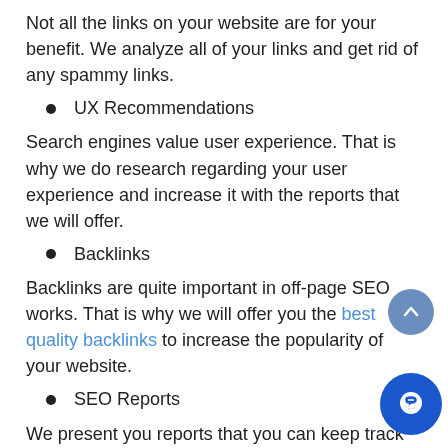Not all the links on your website are for your benefit. We analyze all of your links and get rid of any spammy links.
UX Recommendations
Search engines value user experience. That is why we do research regarding your user experience and increase it with the reports that we will offer.
Backlinks
Backlinks are quite important in off-page SEO works. That is why we will offer you the best quality backlinks to increase the popularity of your website.
SEO Reports
We present you reports that you can keep track of the work and get informed about the actions taken in your project.